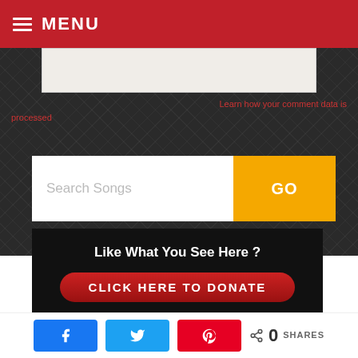MENU
Learn how your comment data is processed
Search Songs | GO
[Figure (infographic): Donation call-to-action banner with dark background, text 'Like What You See Here ?', a red pill-shaped button saying 'CLICK HERE TO DONATE', and green italic text 'Make a donation and keep this site alive']
0 SHARES — Facebook, Twitter, Pinterest share buttons